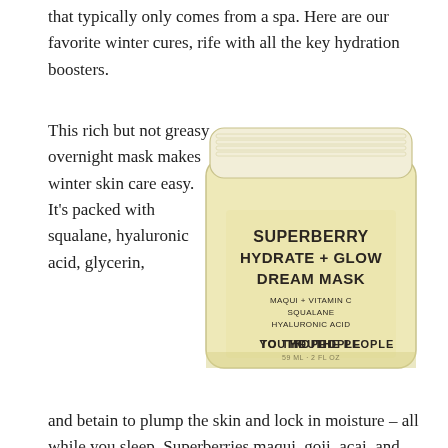that typically only comes from a spa. Here are our favorite winter cures, rife with all the key hydration boosters.
This rich but not greasy overnight mask makes winter skin care easy. It's packed with squalane, hyaluronic acid, glycerin, and betain to plump the skin and lock in moisture – all while you sleep. Superberries maqui, goji, acai, and
[Figure (photo): A jar of Youth to the People Superberry Hydrate + Glow Dream Mask, a pale yellow cylindrical glass jar with a white lid. The label reads: SUPERBERRY HYDRATE + GLOW DREAM MASK, MAQUI + VITAMIN C, SQUALANE, HYALURONIC ACID, YOUTH TO THE PEOPLE, 59 ML · 2 FL OZ]